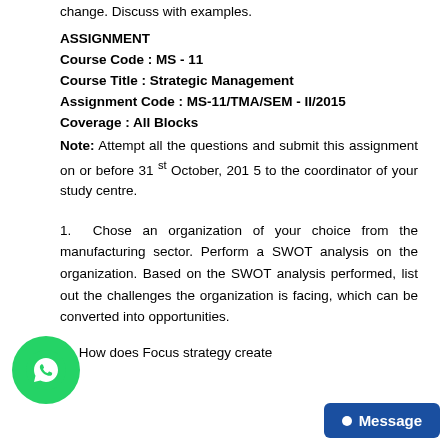change. Discuss with examples.
ASSIGNMENT
Course Code : MS - 11
Course Title : Strategic Management
Assignment Code : MS-11/TMA/SEM - II/2015
Coverage : All Blocks
Note: Attempt all the questions and submit this assignment on or before 31st October, 201 5 to the coordinator of your study centre.
1. Chose an organization of your choice from the manufacturing sector. Perform a SWOT analysis on the organization. Based on the SWOT analysis performed, list out the challenges the organization is facing, which can be converted into opportunities.
2. How does Focus strategy create